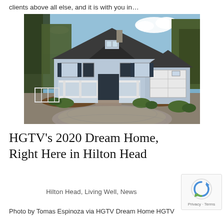clients above all else, and it is with you in…
[Figure (photo): Exterior photo of a light blue coastal/craftsman style home with dark shutters, covered front porch, dark roof, attached garage, circular paver driveway, surrounded by trees and landscaping. HGTV 2020 Dream Home in Hilton Head.]
HGTV's 2020 Dream Home, Right Here in Hilton Head
Hilton Head, Living Well, News
Photo by Tomas Espinoza via HGTV Dream Home HGTV